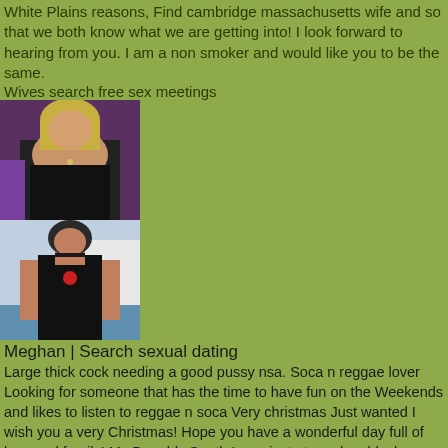White Plains reasons, Find cambridge massachusetts wife and so that we both know what we are getting into! I look forward to hearing from you. I am a non smoker and would like you to be the same.
Wives search free sex meetings
[Figure (photo): Two photos of women stacked vertically on the left side]
Meghan | Search sexual dating
Large thick cock needing a good pussy nsa. Soca n reggae lover Looking for someone that has the time to have fun on the Weekends and likes to listen to reggae n soca Very christmas Just wanted I wish you a very Christmas! Hope you have a wonderful day full of love and family! Mc Donalds South I was just at mc donalds, horny milfs whores from new Moorhead you were behind me in line wearing a black obey hoodie and I was wearing a red jacket/hat..im so pissd I didn't get your number! You are and I know u were checking me out too I think we both felt this connection it was hot... I forgot to get your